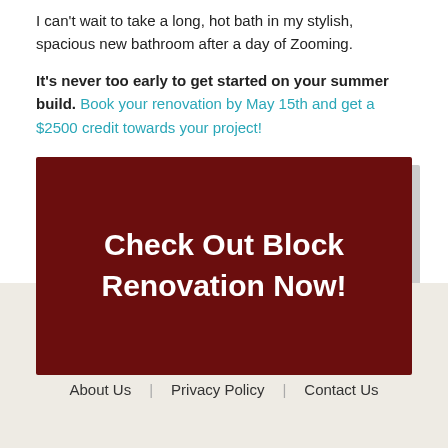I can't wait to take a long, hot bath in my stylish, spacious new bathroom after a day of Zooming.
It's never too early to get started on your summer build. Book your renovation by May 15th and get a $2500 credit towards your project!
[Figure (other): Dark red promotional button block with white bold text reading 'Check Out Block Renovation Now!']
TRUESELF | About Us | Privacy Policy | Contact Us